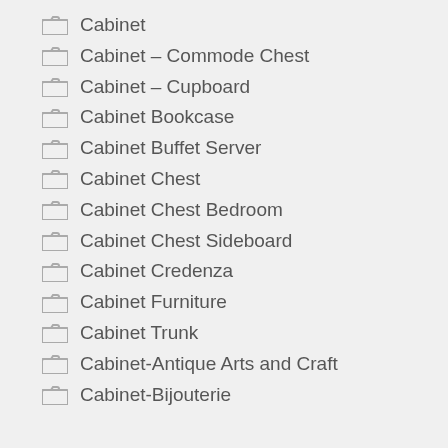Cabinet
Cabinet – Commode Chest
Cabinet – Cupboard
Cabinet Bookcase
Cabinet Buffet Server
Cabinet Chest
Cabinet Chest Bedroom
Cabinet Chest Sideboard
Cabinet Credenza
Cabinet Furniture
Cabinet Trunk
Cabinet-Antique Arts and Craft
Cabinet-Bijouterie